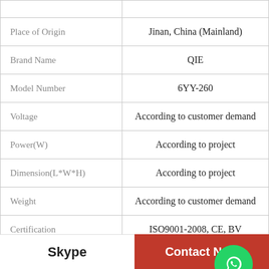| Property | Value |
| --- | --- |
| Place of Origin | Jinan, China (Mainland) |
| Brand Name | QIE |
| Model Number | 6YY-260 |
| Voltage | According to customer demand |
| Power(W) | According to project |
| Dimension(L*W*H) | According to project |
| Weight | According to customer demand |
| Certification | ISO9001-2008, CE, BV |
[Figure (other): WhatsApp Online contact button with green phone icon circle and italic bold text 'WhatsApp Online']
Skype | Contact Now